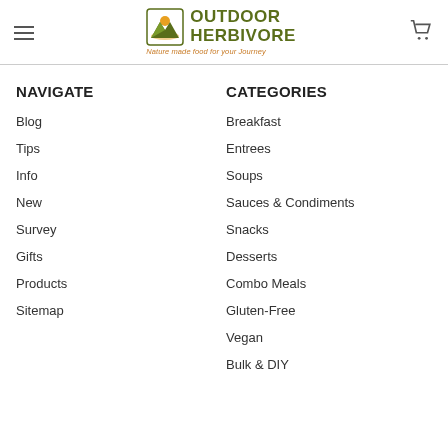Outdoor Herbivore — Nature made food for your Journey
NAVIGATE
Blog
Tips
Info
New
Survey
Gifts
Products
Sitemap
CATEGORIES
Breakfast
Entrees
Soups
Sauces & Condiments
Snacks
Desserts
Combo Meals
Gluten-Free
Vegan
Bulk & DIY